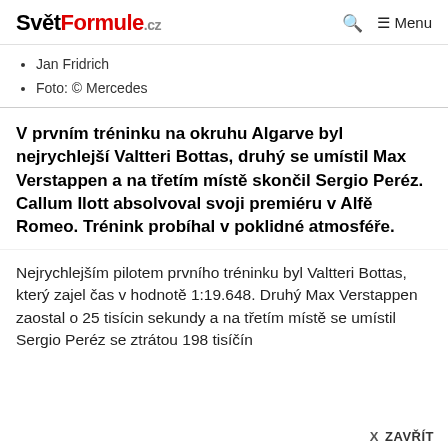SvětFormule.cz   🔍  ≡ Menu
Jan Fridrich
Foto: © Mercedes
V prvním tréninku na okruhu Algarve byl nejrychlejší Valtteri Bottas, druhý se umístil Max Verstappen a na třetím místě skončil Sergio Peréz. Callum Ilott absolvoval svoji premiéru v Alfě Romeo. Trénink probíhal v poklidné atmosféře.
Nejrychlejším pilotem prvního tréninku byl Valtteri Bottas, který zajel čas v hodnotě 1:19.648. Druhý Max Verstappen zaostal o 25 tisícin sekundy a na třetím místě se umístil Sergio Peréz se ztrátou 198 tis…
X ZAVŘÍT